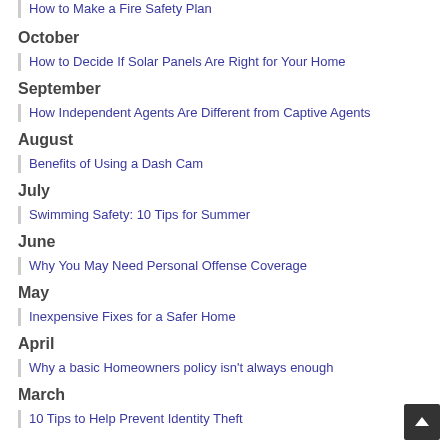How to Make a Fire Safety Plan
October
How to Decide If Solar Panels Are Right for Your Home
September
How Independent Agents Are Different from Captive Agents
August
Benefits of Using a Dash Cam
July
Swimming Safety: 10 Tips for Summer
June
Why You May Need Personal Offense Coverage
May
Inexpensive Fixes for a Safer Home
April
Why a basic Homeowners policy isn't always enough
March
10 Tips to Help Prevent Identity Theft